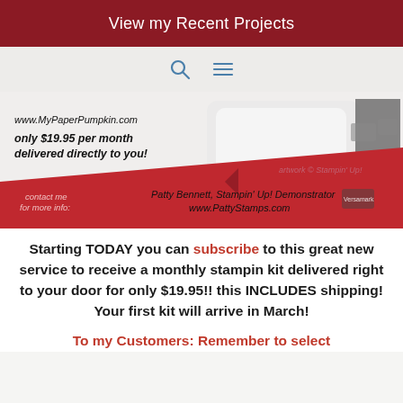View my Recent Projects
[Figure (screenshot): Navigation bar with search and hamburger menu icons on a light beige background]
[Figure (photo): My Paper Pumpkin promotional image showing: www.MyPaperPumpkin.com, only $19.95 per month delivered directly to you!, artwork © Stampin' Up!, contact me for more info, Patty Bennett, Stampin' Up! Demonstrator, www.PattyStamps.com. Red diagonal swoosh background with craft supplies.]
Starting TODAY you can subscribe to this great new service to receive a monthly stampin kit delivered right to your door for only $19.95!! this INCLUDES shipping! Your first kit will arrive in March!
To my Customers: Remember to select